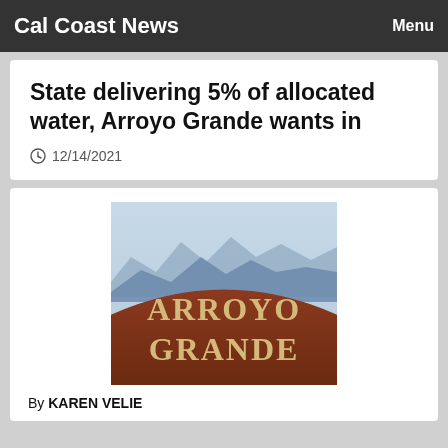Cal Coast News | Menu
State delivering 5% of allocated water, Arroyo Grande wants in
12/14/2021
[Figure (logo): Arroyo Grande city sign logo with brown earth mound and blue mountains/sky background, text reading ARROYO GRANDE]
By KAREN VELIE